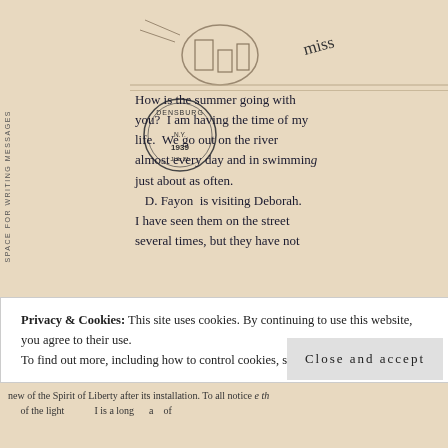[Figure (photo): Scanned vintage postcard showing handwritten message on the back. A circular postmark reads 'DENSBURG ... N.Y. ... 1939'. Rotated side text reads 'SPACE FOR WRITING MESSAGES'. The handwriting reads: 'How is the summer going with you? I am having the time of my life. We go out on the river almost every day and in swimming just about as often. D. Fayon is visiting Deborah. I have seen them on the street several times, but they have not...']
Privacy & Cookies: This site uses cookies. By continuing to use this website, you agree to their use. To find out more, including how to control cookies, see here: Cookie Policy
Close and accept
new of the Spirit of Liberty after its installation. To all notice the ... of the light ... I is a long ... a ... of ...